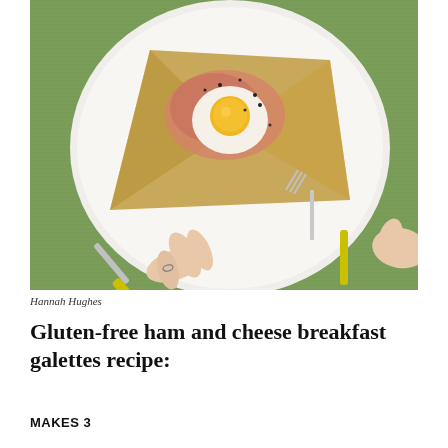[Figure (photo): Overhead view of a galette (buckwheat crepe) with egg, ham and cheese on a white plate, being cut with fork and knife by hands with yellow-handled utensils on a green textured background.]
Hannah Hughes
Gluten-free ham and cheese breakfast galettes recipe:
MAKES 3